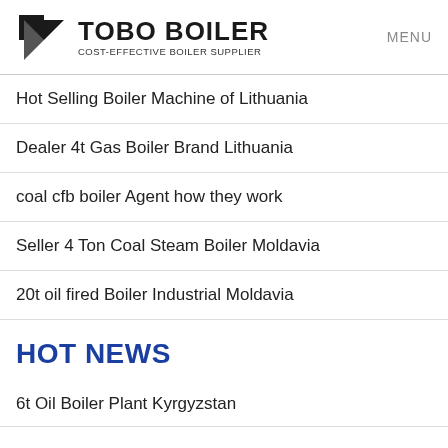TOBO BOILER COST-EFFECTIVE BOILER SUPPLIER | MENU
Hot Selling Boiler Machine of Lithuania
Dealer 4t Gas Boiler Brand Lithuania
coal cfb boiler Agent how they work
Seller 4 Ton Coal Steam Boiler Moldavia
20t oil fired Boiler Industrial Moldavia
HOT NEWS
6t Oil Boiler Plant Kyrgyzstan